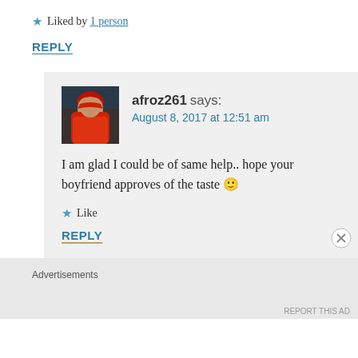★ Liked by 1 person
REPLY
afroz261 says: August 8, 2017 at 12:51 am
I am glad I could be of same help.. hope your boyfriend approves of the taste 🙂
★ Like
REPLY
Advertisements